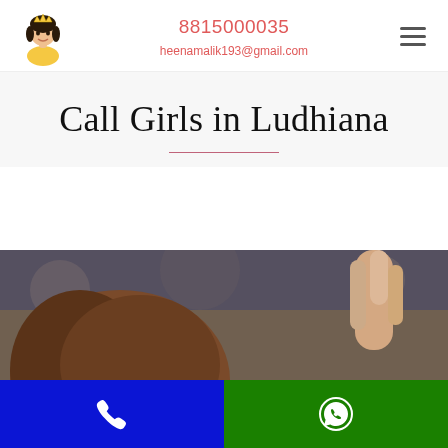8815000035 heenamalik193@gmail.com
Call Girls in Ludhiana
[Figure (photo): Photo of a person with reddish-brown hair and a hand/finger raised, against a blurred outdoor background]
Call button | WhatsApp button